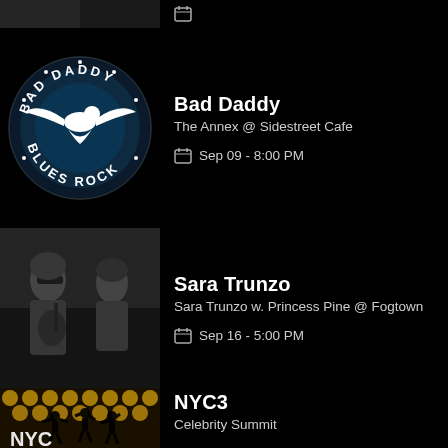[Figure (photo): Partial top of a listing showing a cropped image on left and a calendar date on the right (partially visible)]
[Figure (logo): Bad Daddy Blues Rock circular logo with white eagle on dark blue background]
Bad Daddy
The Annex @ Sidestreet Cafe
Sep 09 - 8:00 PM
[Figure (photo): Black and white photo of Sara Trunzo and another musician outdoors]
Sara Trunzo
Sara Trunzo w. Princess Pine @ Fogtown
Sep 16 - 5:00 PM
[Figure (photo): NYC3 promotional image with silhouettes of performers against golden stage lights background]
NYC3
Celebrity Summit